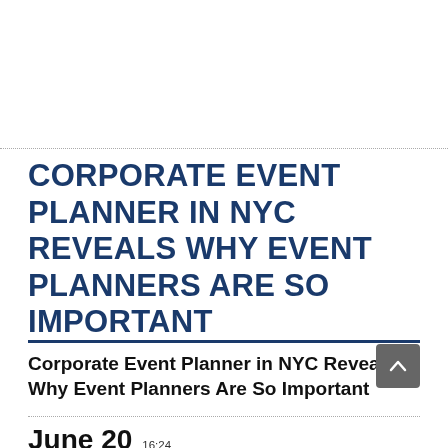CORPORATE EVENT PLANNER IN NYC REVEALS WHY EVENT PLANNERS ARE SO IMPORTANT
Corporate Event Planner in NYC Reveals Why Event Planners Are So Important
June 20   16:24 2022
Anyone who has ever tried to plan an event knows how difficult it can be. Larger organizations and companies often have a dedicated team specifically for events, but this is not always the case for individuals and